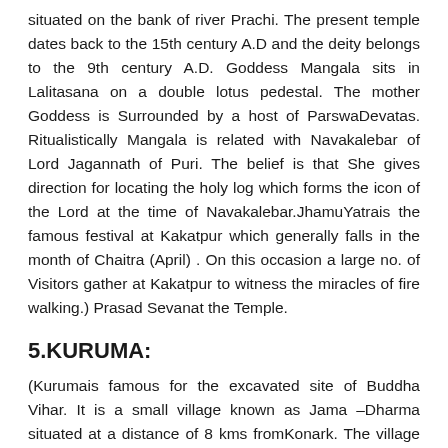situated on the bank of river Prachi. The present temple dates back to the 15th century A.D and the deity belongs to the 9th century A.D. Goddess Mangala sits in Lalitasana on a double lotus pedestal. The mother Goddess is Surrounded by a host of ParswaDevatas. Ritualistically Mangala is related with Navakalebar of Lord Jagannath of Puri. The belief is that She gives direction for locating the holy log which forms the icon of the Lord at the time of Navakalebar.JhamuYatrais the famous festival at Kakatpur which generally falls in the month of Chaitra (April) . On this occasion a large no. of Visitors gather at Kakatpur to witness the miracles of fire walking.) Prasad Sevanat the Temple.
5.KURUMA:
(Kurumais famous for the excavated site of Buddha Vihar. It is a small village known as Jama –Dharma situated at a distance of 8 kms fromKonark. The village has come to prominence due to discovery of Archaeological remains like the image of